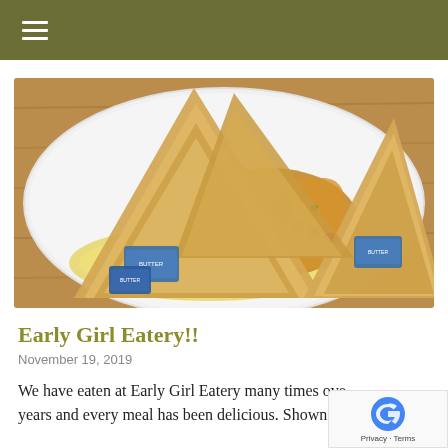≡ (hamburger menu icon)
[Figure (photo): A white plate with a breakfast meal consisting of a scrambled egg omelet, roasted potatoes, pico de gallo salsa, sour cream, and several triangles of toasted bread, served on a wooden table background.]
Early Girl Eatery!!
November 19, 2019
We have eaten at Early Girl Eatery many times ove years and every meal has been delicious. Shown here is a